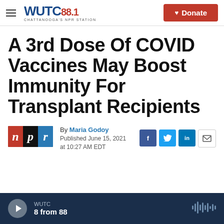WUTC 88.1 Chattanooga's NPR Station | Donate
A 3rd Dose Of COVID Vaccines May Boost Immunity For Transplant Recipients
By Maria Godoy
Published June 15, 2021 at 10:27 AM EDT
[Figure (logo): NPR logo with red n, black p, blue r blocks]
WUTC
8 from 88